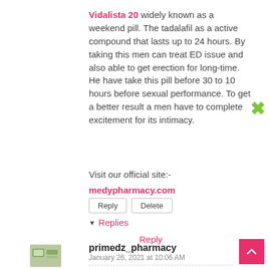Vidalista 20 widely known as a weekend pill. The tadalafil as a active compound that lasts up to 24 hours. By taking this men can treat ED issue and also able to get erection for long-time. He have take this pill before 30 to 10 hours before sexual performance. To get a better result a men have to complete excitement for its intimacy.
Visit our official site:-
medypharmacy.com
Reply  Delete
▾ Replies
Reply
primedz_pharmacy
January 26, 2021 at 10:06 AM
Do you suffer from sex related